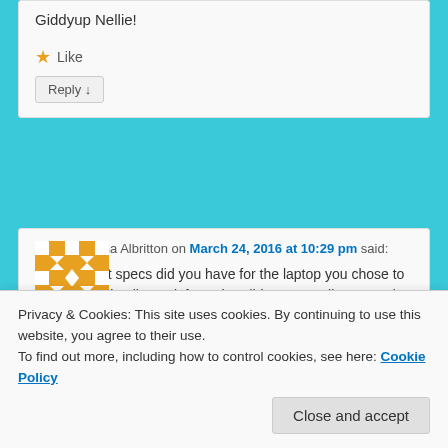Giddyup Nellie!
★ Like
Reply ↓
Donna Albritton on March 24, 2016 at 10:29 pm said:
[Figure (illustration): Orange/white patterned avatar (Gravatar-style identicon) for user Donna Albritton]
What specs did you have for the laptop you chose to handle all your info? What did you actually get, and were there any close runners up?
Reply ↓
Privacy & Cookies: This site uses cookies. By continuing to use this website, you agree to their use.
To find out more, including how to control cookies, see here: Cookie Policy
Close and accept